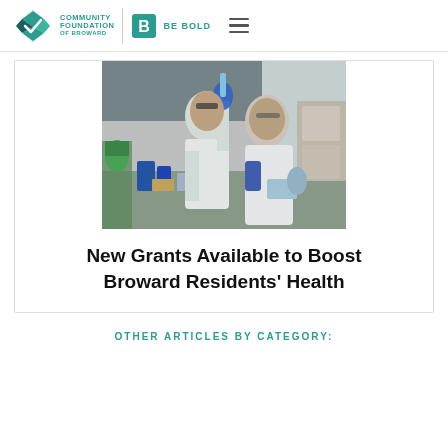Community Foundation of Broward | Be Bold
[Figure (photo): Two researchers in white lab coats and blue gloves working in a laboratory, examining a sample held up to the light.]
New Grants Available to Boost Broward Residents' Health
OTHER ARTICLES BY CATEGORY: